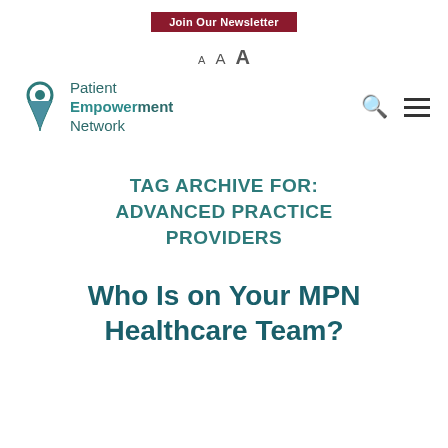Join Our Newsletter
A A A
[Figure (logo): Patient Empowerment Network logo with teal location pin icon and text]
TAG ARCHIVE FOR: ADVANCED PRACTICE PROVIDERS
Who Is on Your MPN Healthcare Team?